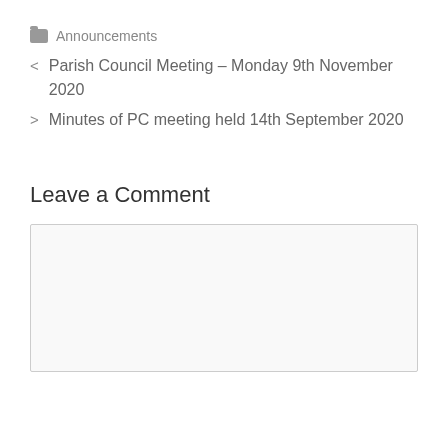📁 Announcements
< Parish Council Meeting – Monday 9th November 2020
> Minutes of PC meeting held 14th September 2020
Leave a Comment